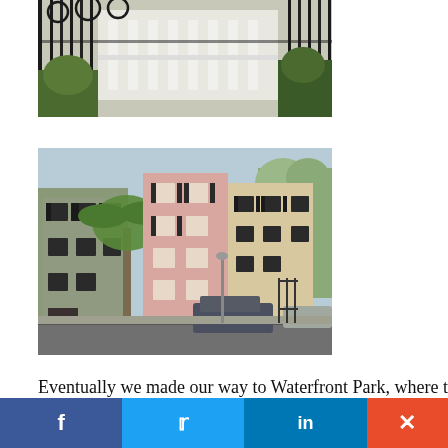[Figure (photo): Iron gate with ornate scrollwork in foreground; white colonial mansion with balustrades visible behind gate; lush vegetation]
[Figure (photo): Row of colorful historic townhouses in Charleston, SC — green, pink/rose, and cream buildings with black shutters; palm tree in foreground; cars parked on street; autumn trees in background]
Eventually we made our way to Waterfront Park, where there are beautiful cast bronze
f  t  in  ×